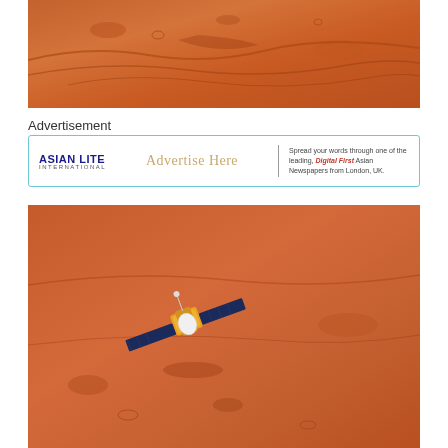[Figure (photo): Aerial/orbital view of Mars surface showing reddish-orange terrain with ridges and craters]
Advertisement
[Figure (infographic): Asian Lite International advertisement banner with text 'Advertise Here' and tagline 'Spread your words through one of the leading, Digital First Asian Newspapers from London, UK.']
[Figure (photo): Orbital view of Mars surface with a spacecraft/satellite visible in the foreground over the reddish-orange Martian terrain]